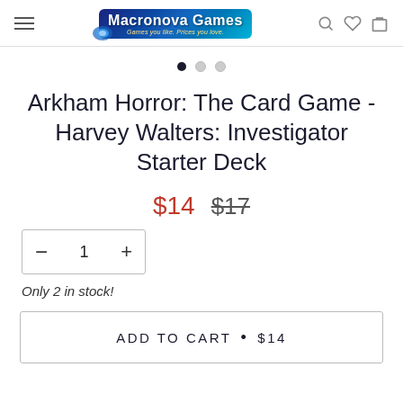Macronova Games
Arkham Horror: The Card Game - Harvey Walters: Investigator Starter Deck
$14  $17
Only 2 in stock!
ADD TO CART • $14